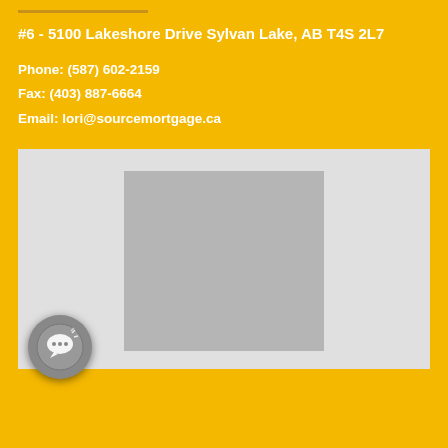#6 - 5100 Lakeshore Drive Sylvan Lake, AB T4S 2L7
Phone: (587) 602-2159
Fax: (403) 887-6664
Email: lori@sourcemortgage.ca
[Figure (photo): A placeholder image area (gray rectangle) inside a light gray panel, with a circular chat/messaging icon in the lower left corner.]